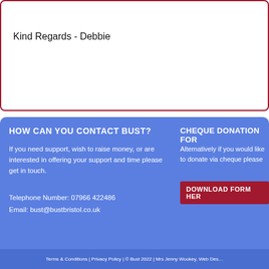Kind Regards - Debbie
HOW CAN YOU CONTACT BUST?
If you need support, wish to raise money, or are interested in offering your support and time please get in touch.
Telephone Number: 07966 422486
Email: bust@bustbristol.co.uk
CHEQUE DONATION FOR
Alternatively if you would like to donate via cheque please
DOWNLOAD FORM HERE
Terms & Conditions | Privacy Policy | © Bust 2022 | Mrs Jenny Wookey, Web Des…